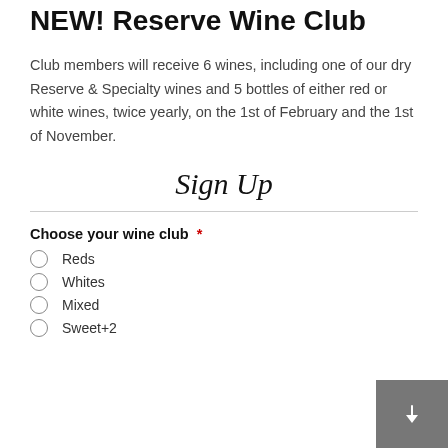NEW! Reserve Wine Club
Club members will receive 6 wines, including one of our dry Reserve & Specialty wines and 5 bottles of either red or white wines, twice yearly, on the 1st of February and the 1st of November.
Sign Up
Choose your wine club *
Reds
Whites
Mixed
Sweet+2